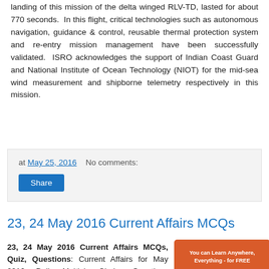landing of this mission of the delta winged RLV-TD, lasted for about 770 seconds. In this flight, critical technologies such as autonomous navigation, guidance & control, reusable thermal protection system and re-entry mission management have been successfully validated. ISRO acknowledges the support of Indian Coast Guard and National Institute of Ocean Technology (NIOT) for the mid-sea wind measurement and shipborne telemetry respectively in this mission.
at May 25, 2016    No comments:
Share
23, 24 May 2016 Current Affairs MCQs
23, 24 May 2016 Current Affairs MCQs, Quiz, Questions: Current Affairs for May 2016, Daily Multiple Choice Questions (MCQs) for India GK, World GK and current affairs with...
[Figure (screenshot): Mobile app advertisement showing 'You can Learn Anywhere, Everything - for FREE' with India GK app screenshot on smartphone]